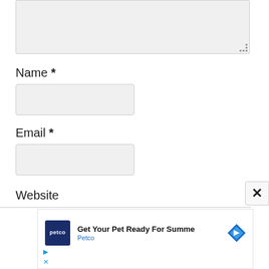[Figure (screenshot): A textarea input box with a resize handle indicator at bottom-right corner, shown with light gray background]
Name *
[Figure (screenshot): A text input field for Name, light gray background with rounded corners]
Email *
[Figure (screenshot): A text input field for Email, light gray background with rounded corners]
Website
[Figure (screenshot): An X close button in rounded rectangle at the right edge of the Website row]
[Figure (screenshot): A Petco advertisement banner: 'Get Your Pet Ready For Summe' with Petco logo and navigation arrow icon]